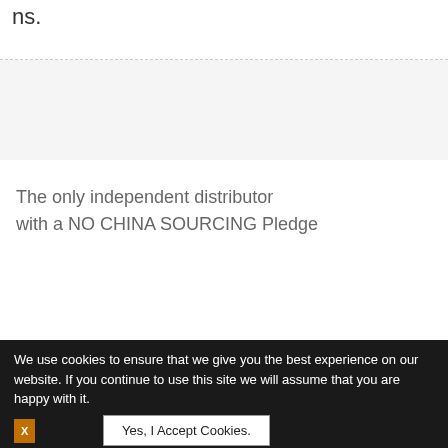ns.
The only independent distributor with a NO CHINA SOURCING Pledge
Legal Notice | Terms and Conditions | Blog | Privacy Policy | ASAP Semiconductor | 1 Peters Canyon, Building 100, | Phone : 1-714-705-4780 | asap-memory.com
We use cookies to ensure that we give you the best experience on our website. If you continue to use this site we will assume that you are happy with it.
Yes, I Accept Cookies.